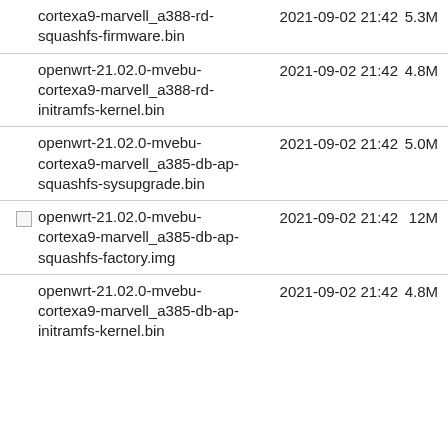cortexa9-marvell_a388-rd-squashfs-firmware.bin  2021-09-02 21:42  5.3M
openwrt-21.02.0-mvebu-cortexa9-marvell_a388-rd-initramfs-kernel.bin  2021-09-02 21:42  4.8M
openwrt-21.02.0-mvebu-cortexa9-marvell_a385-db-ap-squashfs-sysupgrade.bin  2021-09-02 21:42  5.0M
openwrt-21.02.0-mvebu-cortexa9-marvell_a385-db-ap-squashfs-factory.img  2021-09-02 21:42  12M
openwrt-21.02.0-mvebu-cortexa9-marvell_a385-db-ap-initramfs-kernel.bin  2021-09-02 21:42  4.8M